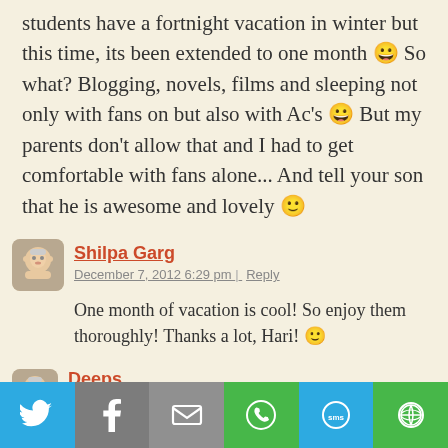students have a fortnight vacation in winter but this time, its been extended to one month 😀 So what? Blogging, novels, films and sleeping not only with fans on but also with Ac's 😀 But my parents don't allow that and I had to get comfortable with fans alone... And tell your son that he is awesome and lovely 🙂
Shilpa Garg — December 7, 2012 6:29 pm | Reply
One month of vacation is cool! So enjoy them thoroughly! Thanks a lot, Hari! 🙂
Deeps
[Figure (infographic): Social share bar with Twitter, Facebook, Email, WhatsApp, SMS, and More buttons]